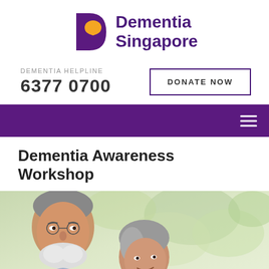[Figure (logo): Dementia Singapore logo with purple D shape and yellow brain icon, text reads Dementia Singapore]
DEMENTIA HELPLINE
6377 0700
DONATE NOW
[Figure (other): Purple navigation bar with hamburger menu icon on the right]
Dementia Awareness Workshop
[Figure (photo): Photo of an elderly Asian man smiling with grey hair and white beard, and a woman with grey hair, outdoors with green blurred background]